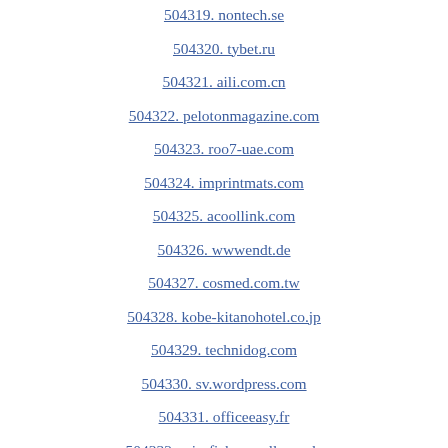504319. nontech.se
504320. tybet.ru
504321. aili.com.cn
504322. pelotonmagazine.com
504323. roo7-uae.com
504324. imprintmats.com
504325. acoollink.com
504326. wwwendt.de
504327. cosmed.com.tw
504328. kobe-kitanohotel.co.jp
504329. technidog.com
504330. sv.wordpress.com
504331. officeeasy.fr
504332. reisefieber-mallorca.de
504333. outletshopping24.de